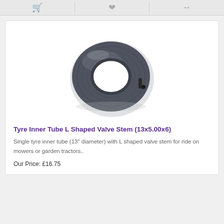[Figure (other): Top navigation bar with cart, wishlist, and compare icons in gray]
[Figure (photo): Gray rubber tyre inner tube with L-shaped valve stem, viewed from front at slight angle, donut/torus shape on white background]
Tyre Inner Tube L Shaped Valve Stem (13x5.00x6)
Single tyre inner tube (13" diameter) with L shaped valve stem for ride on mowers or garden tractors..
Our Price: £16.75